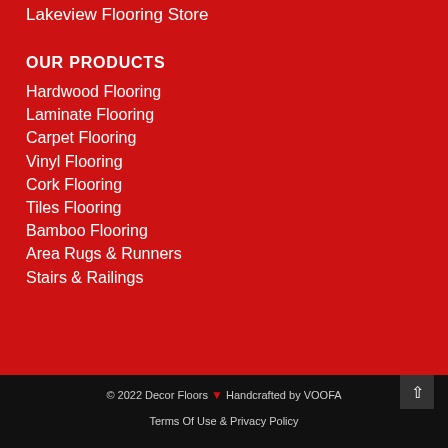Lakeview Flooring Store
OUR PRODUCTS
Hardwood Flooring
Laminate Flooring
Carpet Flooring
Vinyl Flooring
Cork Flooring
Tiles Flooring
Bamboo Flooring
Area Rugs & Runners
Stairs & Railings
© 2022 Decor Floors 🍁 Handcrafted by VOOFA
Terms Of Use & Privacy Policy